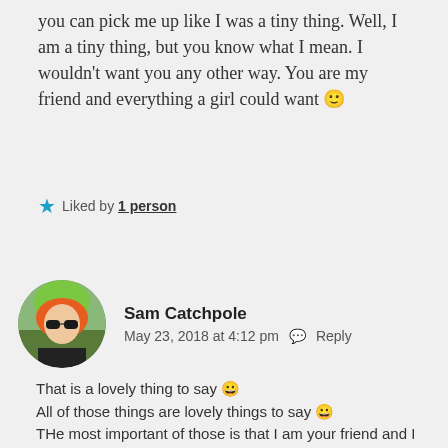you can pick me up like I was a tiny thing. Well, I am a tiny thing, but you know what I mean. I wouldn't want you any other way. You are my friend and everything a girl could want 🙂
★ Liked by 1 person
[Figure (photo): Circular avatar photo of Sam Catchpole, a person with colorful orange and green dyed hair, wearing dark sunglasses, outdoors.]
Sam Catchpole
May 23, 2018 at 4:12 pm  💬 Reply
That is a lovely thing to say 😀
All of those things are lovely things to say 😀
THe most important of those is that I am your friend and I make you smile! These are more important things than whether strange engineer boys think I look like I gym or not!!